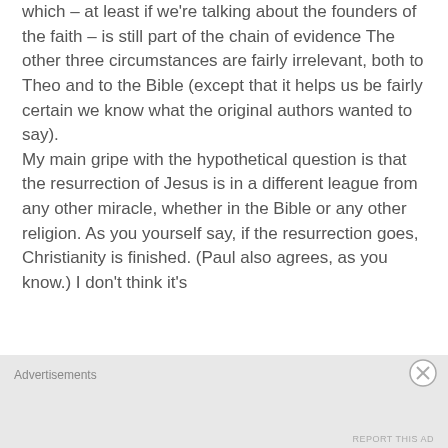which – at least if we're talking about the founders of the faith – is still part of the chain of evidence The other three circumstances are fairly irrelevant, both to Theo and to the Bible (except that it helps us be fairly certain we know what the original authors wanted to say). My main gripe with the hypothetical question is that the resurrection of Jesus is in a different league from any other miracle, whether in the Bible or any other religion. As you yourself say, if the resurrection goes, Christianity is finished. (Paul also agrees, as you know.) I don't think it's
Advertisements